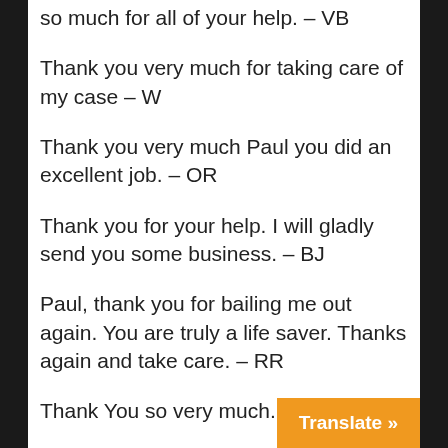so much for all of your help. – VB
Thank you very much for taking care of my case – W
Thank you very much Paul you did an excellent job. – OR
Thank you for your help. I will gladly send you some business. – BJ
Paul, thank you for bailing me out again. You are truly a life saver. Thanks again and take care. – RR
Thank You so very much. – TP
Mr. Massa, I wanted to let you know